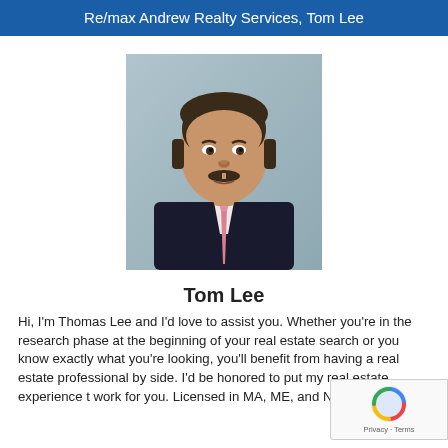Re/max Andrew Realty Services, Tom Lee
[Figure (photo): Professional headshot of Tom Lee, a middle-aged man with dark hair and a mustache, wearing a dark suit with a pink tie, against a light blue-grey background.]
Tom Lee
Hi, I'm Thomas Lee and I'd love to assist you. Whether you're in the research phase at the beginning of your real estate search or you know exactly what you're looking, you'll benefit from having a real estate professional by side. I'd be honored to put my real estate experience t work for you. Licensed in MA, ME, and NH.